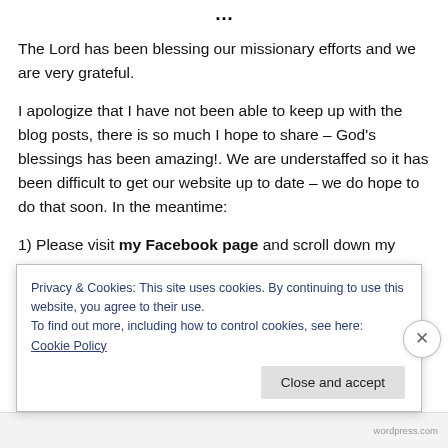…
The Lord has been blessing our missionary efforts and we are very grateful.
I apologize that I have not been able to keep up with the blog posts, there is so much I hope to share – God's blessings has been amazing!. We are understaffed so it has been difficult to get our website up to date – we do hope to do that soon. In the meantime:
1) Please visit my Facebook page and scroll down my
Privacy & Cookies: This site uses cookies. By continuing to use this website, you agree to their use.
To find out more, including how to control cookies, see here: Cookie Policy
Close and accept